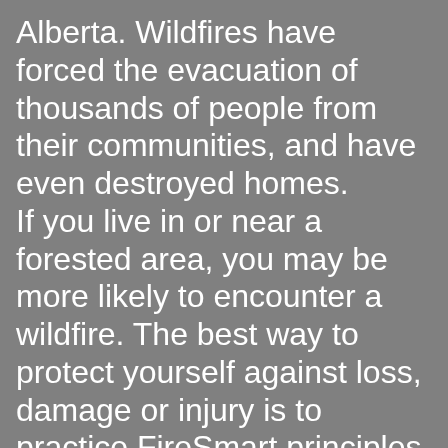Alberta. Wildfires have forced the evacuation of thousands of people from their communities, and have even destroyed homes. If you live in or near a forested area, you may be more likely to encounter a wildfire. The best way to protect yourself against loss, damage or injury is to practice FireSmart principles on your property. By following the FireSmart Home Owner's Manual, you can help reduce that risk.